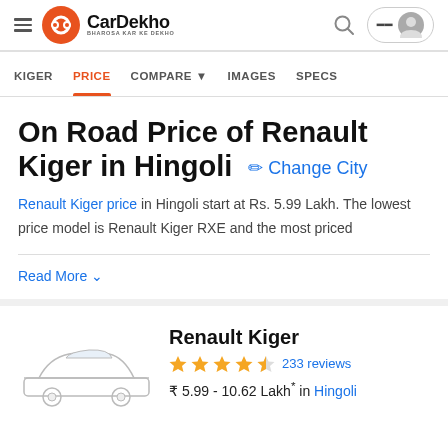CarDekho – BHAROSA KAR KE DEKHO
KIGER | PRICE | COMPARE | IMAGES | SPECS
On Road Price of Renault Kiger in Hingoli – Change City
Renault Kiger price in Hingoli start at Rs. 5.99 Lakh. The lowest price model is Renault Kiger RXE and the most priced
Read More
Renault Kiger
4.5 stars – 233 reviews
₹ 5.99 - 10.62 Lakh* in Hingoli